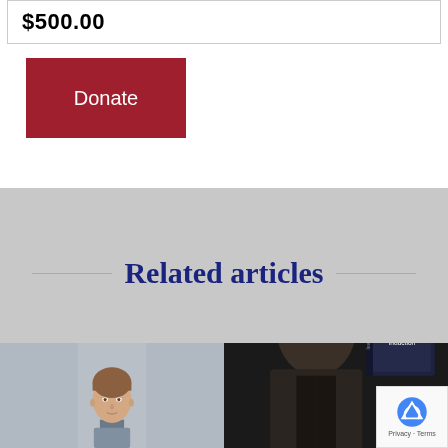$500.00
[Figure (other): Red donate button with white text 'Donate']
Related articles
[Figure (photo): Headshot of a man with brown hair on gray background]
[Figure (photo): Dark background with a man in suit and book cover visible with text 'The Republican Party Needs Leadership Induction']
[Figure (other): reCAPTCHA badge with Privacy - Terms text]